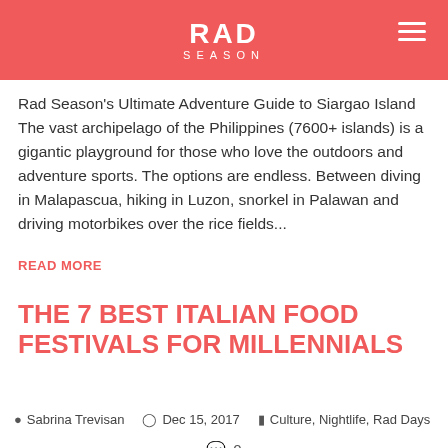RAD SEASON
Rad Season's Ultimate Adventure Guide to Siargao Island The vast archipelago of the Philippines (7600+ islands) is a gigantic playground for those who love the outdoors and adventure sports. The options are endless. Between diving in Malapascua, hiking in Luzon, snorkel in Palawan and driving motorbikes over the rice fields...
READ MORE
THE 7 BEST ITALIAN FOOD FESTIVALS FOR MILLENNIALS
Sabrina Trevisan   Dec 15, 2017   Culture, Nightlife, Rad Days
0
[Figure (photo): Bottom strip showing a photograph of a table scene with papers and a phone]